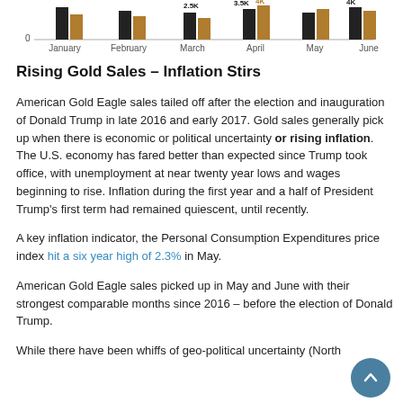[Figure (grouped-bar-chart): American Gold Eagle Sales by Month]
Rising Gold Sales – Inflation Stirs
American Gold Eagle sales tailed off after the election and inauguration of Donald Trump in late 2016 and early 2017. Gold sales generally pick up when there is economic or political uncertainty or rising inflation. The U.S. economy has fared better than expected since Trump took office, with unemployment at near twenty year lows and wages beginning to rise. Inflation during the first year and a half of President Trump's first term had remained quiescent, until recently.
A key inflation indicator, the Personal Consumption Expenditures price index hit a six year high of 2.3% in May.
American Gold Eagle sales picked up in May and June with their strongest comparable months since 2016 – before the election of Donald Trump.
While there have been whiffs of geo-political uncertainty (North